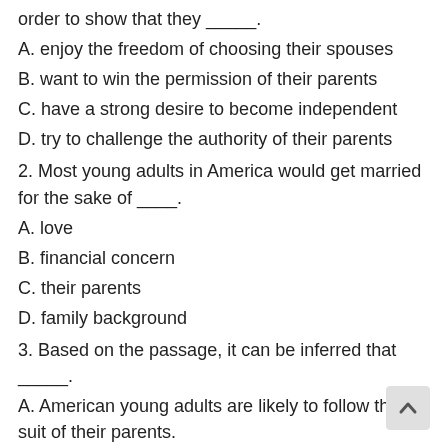order to show that they _____.
A. enjoy the freedom of choosing their spouses
B. want to win the permission of their parents
C. have a strong desire to become independent
D. try to challenge the authority of their parents
2. Most young adults in America would get married for the sake of ____.
A. love
B. financial concern
C. their parents
D. family background
3. Based on the passage, it can be inferred that _____.
A. American young adults are likely to follow the suit of their parents.
B. most American parents never make major decisions for